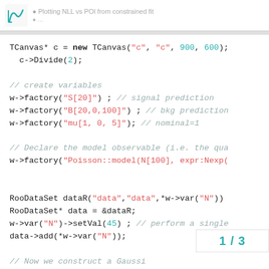Plotting NLL vs POI from constrained fit
TCanvas* c = new TCanvas("c", "c", 900, 600);
  c->Divide(2);

// create variables
w->factory("S[20]") ; // signal prediction
w->factory("B[20,0,100]") ; // bkg prediction
w->factory("mu[1, 0, 5]"); // nominal=1

// Declare the model observable (i.e. the qua
w->factory("Poisson::model(N[100], expr:Nexp(


RooDataSet dataR("data","data",*w->var("N"))
RooDataSet* data = &dataR;
w->var("N")->setVal(45) ; // perform a single
data->add(*w->var("N"));

// Now we construct a Gaussi
1 / 3